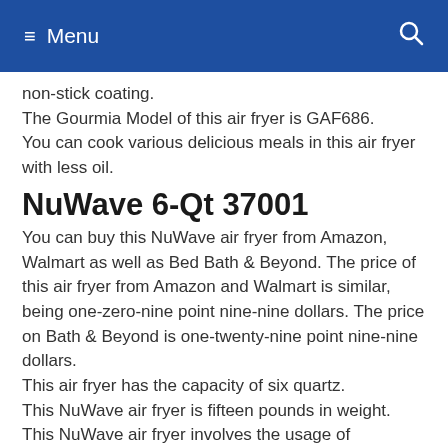Menu
non-stick coating.
The Gourmia Model of this air fryer is GAF686.
You can cook various delicious meals in this air fryer with less oil.
NuWave 6-Qt 37001
You can buy this NuWave air fryer from Amazon, Walmart as well as Bed Bath & Beyond. The price of this air fryer from Amazon and Walmart is similar, being one-zero-nine point nine-nine dollars. The price on Bath & Beyond is one-twenty-nine point nine-nine dollars.
This air fryer has the capacity of six quartz.
This NuWave air fryer is fifteen pounds in weight.
This NuWave air fryer involves the usage of